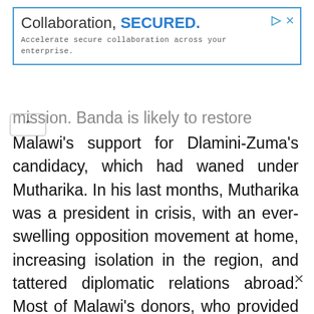[Figure (other): Advertisement banner with blue border. Text reads 'Collaboration, SECURED.' with 'SECURED.' in bold blue. Subtitle: 'Accelerate secure collaboration across your enterprise.' Play and close icons in top-right corner.]
mission. Banda is likely to restore Malawi's support for Dlamini-Zuma's candidacy, which had waned under Mutharika. In his last months, Mutharika was a president in crisis, with an ever-swelling opposition movement at home, increasing isolation in the region, and tattered diplomatic relations abroad. Most of Malawi's donors, who provided up to half of the country's annual budget